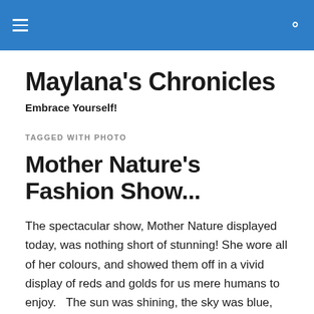Maylana's Chronicles
Embrace Yourself!
TAGGED WITH PHOTO
Mother Nature's Fashion Show...
The spectacular show, Mother Nature displayed today, was nothing short of stunning! She wore all of her colours, and showed them off in a vivid display of reds and golds for us mere humans to enjoy.   The sun was shining, the sky was blue, with the wind whipping around our necks; it